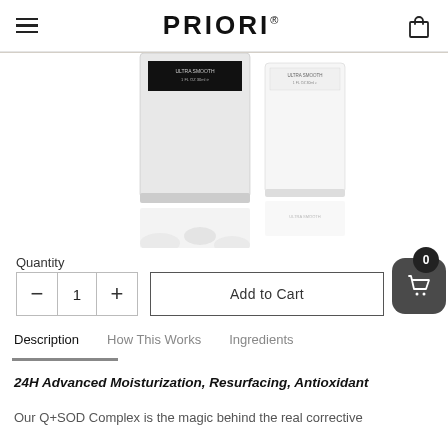PRIORI®
[Figure (photo): Two PRIORI skincare product bottles, one with dark black label and one white, partially cropped from above]
Quantity
1
Add to Cart
Description   How This Works   Ingredients
24H Advanced Moisturization, Resurfacing, Antioxidant
Our Q+SOD Complex is the magic behind the real corrective